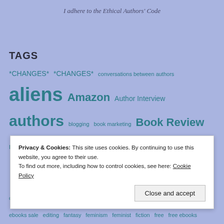I adhere to the Ethical Authors' Code
TAGS
*CHANGES* *CHANGES* conversations between authors aliens Amazon Author Interview authors blogging book marketing Book Review Book Reviews books Book sale Buddhism Buddhist Clara Branon contemplation cover art CreateSpace ebook ebooks ebooks sale editing fantasy feminism feminist fiction free free ebooks health indie authors Indie Publishing Jewish Kindle Matchbook Many Worlds Collective marketing meditation mind states Moran Ackerman multiverse Nyingma paperbacks paranormal physics Poetry pre-orders Sally Ember Sally ...
Privacy & Cookies: This site uses cookies. By continuing to use this website, you agree to their use.
To find out more, including how to control cookies, see here: Cookie Policy
Close and accept